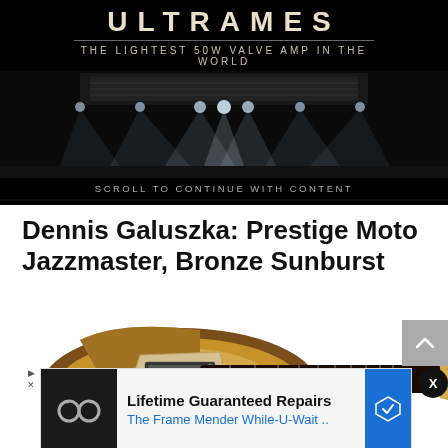[Figure (screenshot): Black advertisement banner at top with large styled text 'ULTRAMES' and subtitle 'THE LIGHTEST 50W VALVE AMP IN THE WORLD', with a stage lights photograph below and 'SCROLL TO CONTINUE WITH CONTENT' text]
Dennis Galuszka: Prestige Moto Jazzmaster, Bronze Sunburst
[Figure (photo): A Prestige Moto Jazzmaster guitar in Bronze Sunburst finish with a dark fretboard extending across the page]
[Figure (screenshot): Bottom advertisement banner: 'Lifetime Guaranteed Repairs' and 'The Frame Mender While-U-Wait ..' with eyeglasses icon and blue navigation arrow]